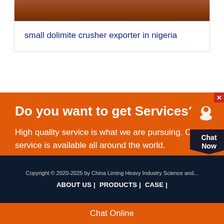[Figure (photo): Reddish-brown soil or rock texture image at the top of a product card]
small dolimite crusher exporter in nigeria
Do you want to get Services?
High quality service is what we are pursuing. Our service is available all around the world.
Contact Us
Copyright © 2020-2025 by China Liming Heavy Industry Science and...
ABOUT US |  PRODUCTS |  CASE |
Chat Online